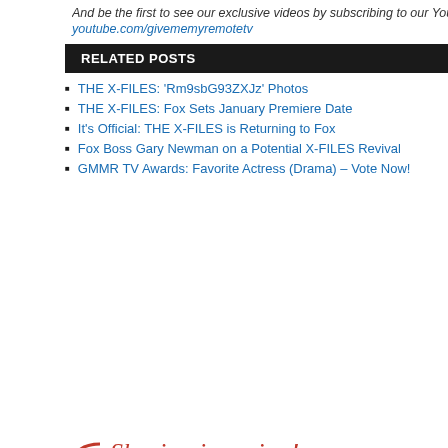And be the first to see our exclusive videos by subscribing to our YouTube cha…
youtube.com/givememyremotetv
RELATED POSTS
THE X-FILES: 'Rm9sbG93ZXJz' Photos
THE X-FILES: Fox Sets January Premiere Date
It's Official: THE X-FILES is Returning to Fox
Fox Boss Gary Newman on a Potential X-FILES Revival
GMMR TV Awards: Favorite Actress (Drama) – Vote Now!
[Figure (infographic): Sharing is caring! social share buttons: Facebook, Twitter, Pinterest, LinkedIn, Email, More. Below: large grid of social sharing tiles including Twitter, Facebook, Email, WhatsApp, SMS, More. Partial Fox logo visible at right.]